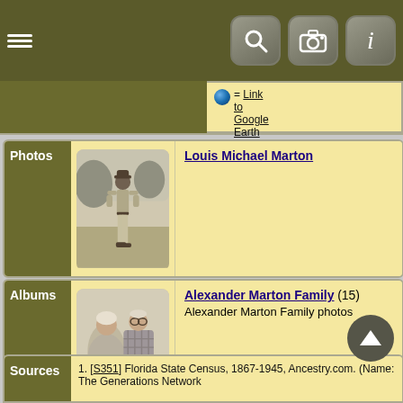[Figure (screenshot): Mobile app top navigation bar with hamburger menu and icons for search, camera, and info on olive/dark green background]
= Link to Google Earth
[Figure (photo): Black and white photo of a man standing outdoors]
Louis Michael Marton
[Figure (photo): Black and white photo of an elderly couple at a table]
Alexander Marton Family (15) Alexander Marton Family photos
1. [S351] Florida State Census, 1867-1945, Ancestry.com. (Name: The Generations Network